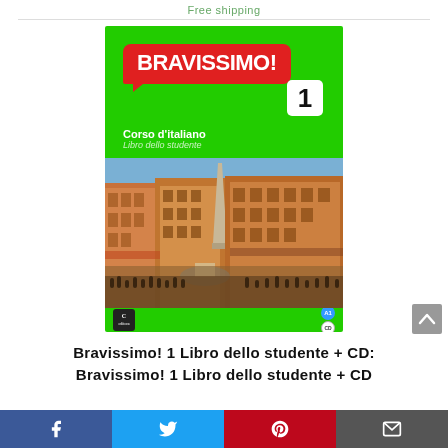Free shipping
[Figure (photo): Book cover of Bravissimo! 1 Libro dello studente + CD, an Italian language course textbook. Green cover with red speech bubble showing BRAVISSIMO! title, number 1 badge, subtitle Corso d'italiano / Libro dello studente, and a photo of a Roman piazza (Piazza Navona) with obelisk and crowds.]
Bravissimo! 1 Libro dello studente + CD: Bravissimo! 1 Libro dello studente + CD